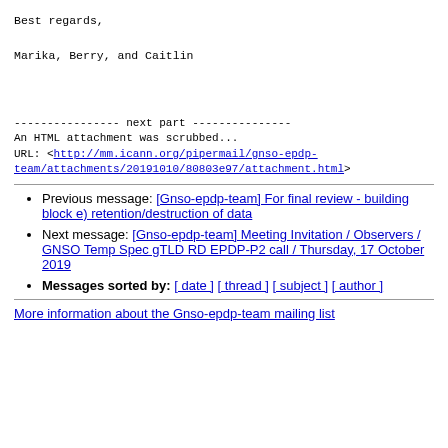Best regards,
Marika, Berry, and Caitlin
---------------- next part ---------------
An HTML attachment was scrubbed...
URL: <http://mm.icann.org/pipermail/gnso-epdp-team/attachments/20191010/80803e97/attachment.html>
Previous message: [Gnso-epdp-team] For final review - building block e) retention/destruction of data
Next message: [Gnso-epdp-team] Meeting Invitation / Observers / GNSO Temp Spec gTLD RD EPDP-P2 call / Thursday, 17 October 2019
Messages sorted by: [ date ] [ thread ] [ subject ] [ author ]
More information about the Gnso-epdp-team mailing list